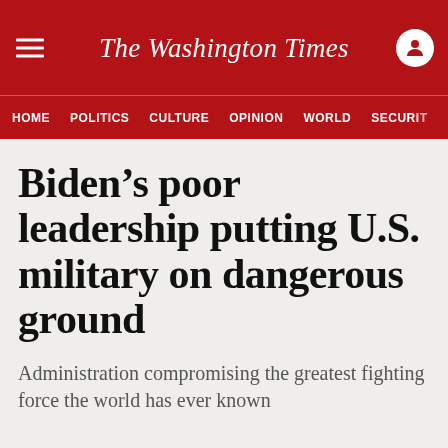The Washington Times
HOME  POLITICS  CULTURE  OPINION  WORLD  SECURITY
Biden’s poor leadership putting U.S. military on dangerous ground
Administration compromising the greatest fighting force the world has ever known